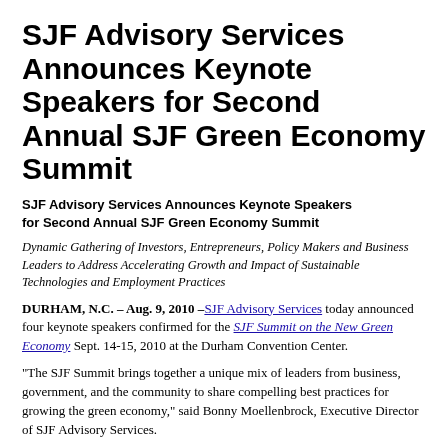SJF Advisory Services Announces Keynote Speakers for Second Annual SJF Green Economy Summit
SJF Advisory Services Announces Keynote Speakers for Second Annual SJF Green Economy Summit
Dynamic Gathering of Investors, Entrepreneurs, Policy Makers and Business Leaders to Address Accelerating Growth and Impact of Sustainable Technologies and Employment Practices
DURHAM, N.C. – Aug. 9, 2010 – SJF Advisory Services today announced four keynote speakers confirmed for the SJF Summit on the New Green Economy Sept. 14-15, 2010 at the Durham Convention Center.
“The SJF Summit brings together a unique mix of leaders from business, government, and the community to share compelling best practices for growing the green economy,” said Bonny Moellenbrock, Executive Director of SJF Advisory Services.